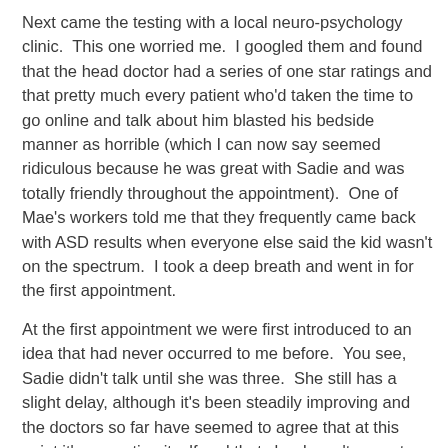Next came the testing with a local neuro-psychology clinic.  This one worried me.  I googled them and found that the head doctor had a series of one star ratings and that pretty much every patient who'd taken the time to go online and talk about him blasted his bedside manner as horrible (which I can now say seemed ridiculous because he was great with Sadie and was totally friendly throughout the appointment).  One of Mae's workers told me that they frequently came back with ASD results when everyone else said the kid wasn't on the spectrum.  I took a deep breath and went in for the first appointment.
At the first appointment we were first introduced to an idea that had never occurred to me before.  You see, Sadie didn't talk until she was three.  She still has a slight delay, although it's been steadily improving and the doctors so far have seemed to agree that at this point it's correcting itself and that she doesn't seem to need speech therapy (I've seen a lot of improvement since we do so much poetry in her classes).
This time however there was a substantial in her report...